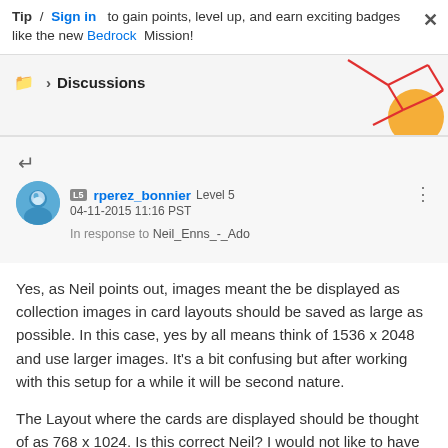Tip / Sign in to gain points, level up, and earn exciting badges like the new Bedrock Mission!
Discussions
[Figure (illustration): Decorative geometric lines and orange circle in top right corner]
rperez_bonnier Level 5
04-11-2015 11:16 PST
In response to Neil_Enns_-_Ado
Yes, as Neil points out, images meant the be displayed as collection images in card layouts should be saved as large as possible. In this case, yes by all means think of 1536 x 2048 and use larger images. It's a bit confusing but after working with this setup for a while it will be second nature.

The Layout where the cards are displayed should be thought of as 768 x 1024. Is this correct Neil? I would not like to have that information mixed up.